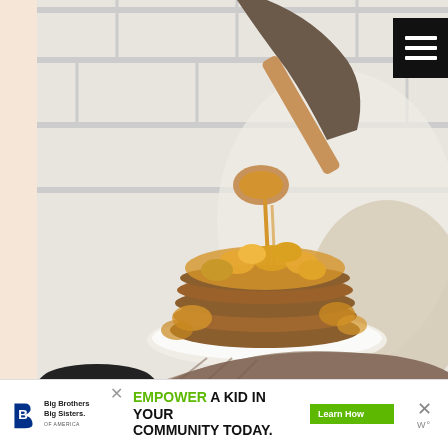[Figure (photo): A person holding a white plate with a tall stack of pancakes topped with sliced apples/fruit, while pouring sauce or butter from a wooden spoon. Kitchen background with white subway tiles. A frying pan visible at the bottom.]
[Figure (other): Black hamburger menu button (three horizontal white lines on black square background) in top right corner]
[Figure (other): Advertisement banner: Big Brothers Big Sisters of America logo on left, text 'EMPOWER A KID IN YOUR COMMUNITY TODAY.' in center with green Learn How button, and X close buttons on right]